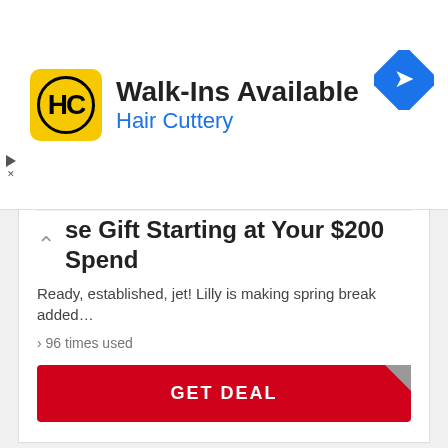[Figure (logo): Hair Cuttery advertisement banner with HC logo, 'Walk-Ins Available' headline, 'Hair Cuttery' subtitle in blue, and a blue diamond navigation icon]
se Gift Starting at Your $200 Spend
Ready, established, jet! Lilly is making spring break added…
› 96 times used
GET DEAL
[Figure (other): Coupon box with dashed border containing the word SALE in large red bold text]
Free Gifts on $150+
Limited time! Hit the court, training course, or pool this spr